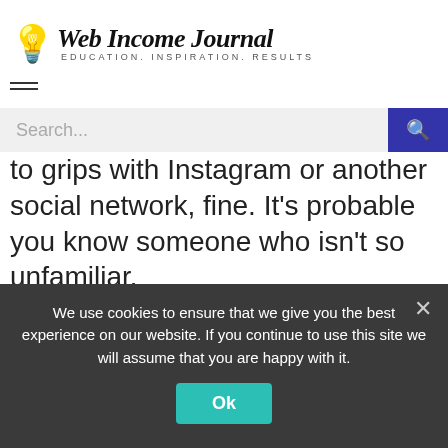Web Income Journal — EDUCATION. INSPIRATION. RESULTS
to grips with Instagram or another social network, fine. It's probable you know someone who isn't so unfamiliar.
It may be a friend, or a friend of a friend, or a son or daughter of a friend. Ask them to take control of the business social media accounts. Pay them for their time –
We use cookies to ensure that we give you the best experience on our website. If you continue to use this site we will assume that you are happy with it.